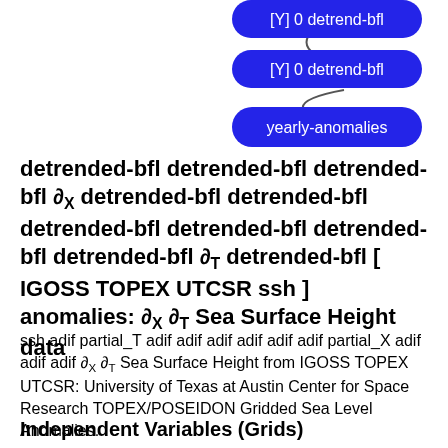[Figure (screenshot): Three blue rounded-rectangle UI buttons stacked vertically on the right side: '[Y] 0 detrend-bfl', and 'yearly-anomalies', with connecting curved lines between them]
detrended-bfl detrended-bfl detrended-bfl ∂X detrended-bfl detrended-bfl detrended-bfl detrended-bfl detrended-bfl detrended-bfl ∂T detrended-bfl [ IGOSS TOPEX UTCSR ssh ] anomalies: ∂X ∂T Sea Surface Height data
ssh adif partial_T adif adif adif adif adif adif partial_X adif adif adif ∂X ∂T Sea Surface Height from IGOSS TOPEX UTCSR: University of Texas at Austin Center for Space Research TOPEX/POSEIDON Gridded Sea Level Anomalies.
Independent Variables (Grids)